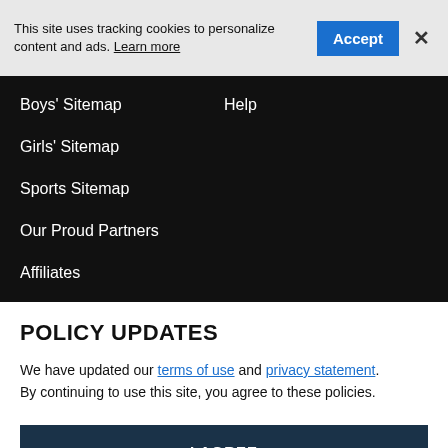This site uses tracking cookies to personalize content and ads. Learn more
Boys' Sitemap
Help
Girls' Sitemap
Sports Sitemap
Our Proud Partners
Affiliates
Covid-19
POLICY UPDATES
We have updated our terms of use and privacy statement. By continuing to use this site, you agree to these policies.
I AGREE